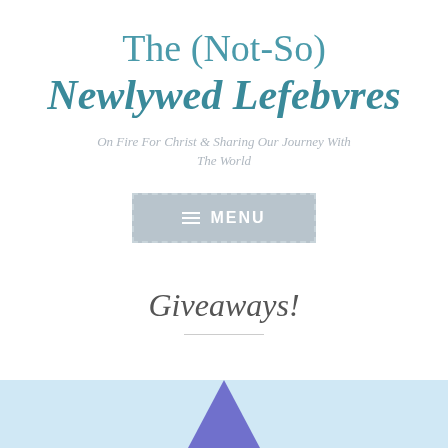The (Not-So) Newlywed Lefebvres
On Fire For Christ & Sharing Our Journey With The World
[Figure (screenshot): Navigation menu button with hamburger icon and MENU label, grey background with dashed border]
Giveaways!
[Figure (illustration): Partial view of a light blue banner image with a purple triangle shape visible at the bottom of the page]